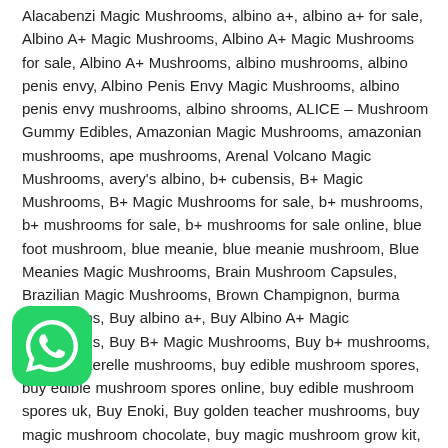Alacabenzi Magic Mushrooms, albino a+, albino a+ for sale, Albino A+ Magic Mushrooms, Albino A+ Magic Mushrooms for sale, Albino A+ Mushrooms, albino mushrooms, albino penis envy, Albino Penis Envy Magic Mushrooms, albino penis envy mushrooms, albino shrooms, ALICE – Mushroom Gummy Edibles, Amazonian Magic Mushrooms, amazonian mushrooms, ape mushrooms, Arenal Volcano Magic Mushrooms, avery's albino, b+ cubensis, B+ Magic Mushrooms, B+ Magic Mushrooms for sale, b+ mushrooms, b+ mushrooms for sale, b+ mushrooms for sale online, blue foot mushroom, blue meanie, blue meanie mushroom, Blue Meanies Magic Mushrooms, Brain Mushroom Capsules, Brazilian Magic Mushrooms, Brown Champignon, burma mushrooms, Buy albino a+, Buy Albino A+ Magic Mushrooms, Buy B+ Magic Mushrooms, Buy b+ mushrooms, Buy Chanterelle mushrooms, buy edible mushroom spores, buy edible mushroom spores online, buy edible mushroom spores uk, Buy Enoki, Buy golden teacher mushrooms, buy magic mushroom chocolate, buy magic mushroom grow kit, buy magic mushroom online, buy magic mushrooms, buy magic mushrooms online, Buy Maitake, Buy mushroom chocolate, buy mushroom chocolate bar, Buy Mushroom edible, Buy one up mushroom, Buy penis envy mushrooms, buy Psilocybin, Buy psychedelic mushrooms, Buy Shiitake, buy shroom chocolate, Buy shrooms, buy shrooms online, Cambodian Gold Mushroom, Cambodian Magic Mushrooms, cambodian mushrooms, Chanterelle for sale, Chanterelle mushroom spores, Chanterelle spores, Chestnut Mushroom,
[Figure (logo): WhatsApp logo icon — green circle with white phone handset]